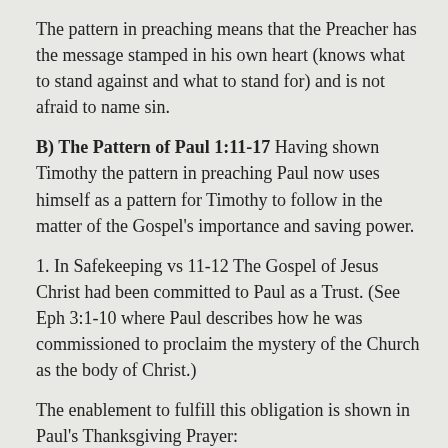The pattern in preaching means that the Preacher has the message stamped in his own heart (knows what to stand against and what to stand for) and is not afraid to name sin.
B) The Pattern of Paul 1:11-17 Having shown Timothy the pattern in preaching Paul now uses himself as a pattern for Timothy to follow in the matter of the Gospel's importance and saving power.
1. In Safekeeping vs 11-12 The Gospel of Jesus Christ had been committed to Paul as a Trust. (See Eph 3:1-10 where Paul describes how he was commissioned to proclaim the mystery of the Church as the body of Christ.)
The enablement to fulfill this obligation is shown in Paul's Thanksgiving Prayer: